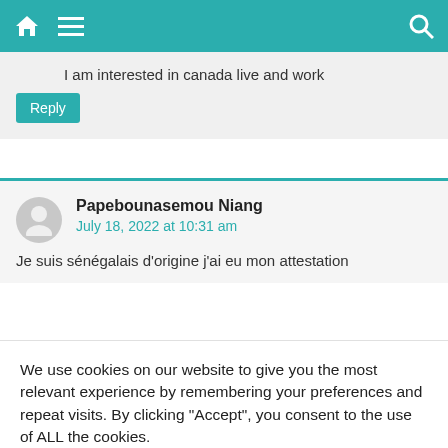Navigation bar with home, menu, and search icons
I am interested in canada live and work
Reply
Papebounasemou Niang
July 18, 2022 at 10:31 am
Je suis sénégalais d'origine j'ai eu mon attestation
We use cookies on our website to give you the most relevant experience by remembering your preferences and repeat visits. By clicking “Accept”, you consent to the use of ALL the cookies.
Reject.
Cookie Settings
Accept